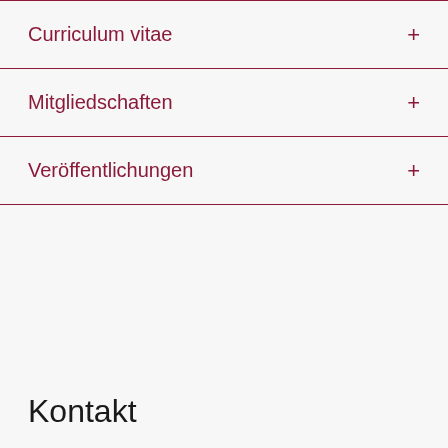Curriculum vitae
Mitgliedschaften
Veröffentlichungen
Kontakt